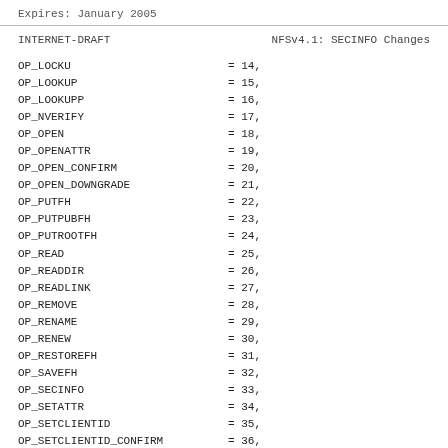Expires: January 2005
INTERNET-DRAFT                NFSv4.1: SECINFO Changes
OP_LOCKU = 14,
OP_LOOKUP = 15,
OP_LOOKUPP = 16,
OP_NVERIFY = 17,
OP_OPEN = 18,
OP_OPENATTR = 19,
OP_OPEN_CONFIRM = 20,
OP_OPEN_DOWNGRADE = 21,
OP_PUTFH = 22,
OP_PUTPUBFH = 23,
OP_PUTROOTFH = 24,
OP_READ = 25,
OP_READDIR = 26,
OP_READLINK = 27,
OP_REMOVE = 28,
OP_RENAME = 29,
OP_RENEW = 30,
OP_RESTOREFH = 31,
OP_SAVEFH = 32,
OP_SECINFO = 33,
OP_SETATTR = 34,
OP_SETCLIENTID = 35,
OP_SETCLIENTID_CONFIRM = 36,
OP_VERIFY = 37,